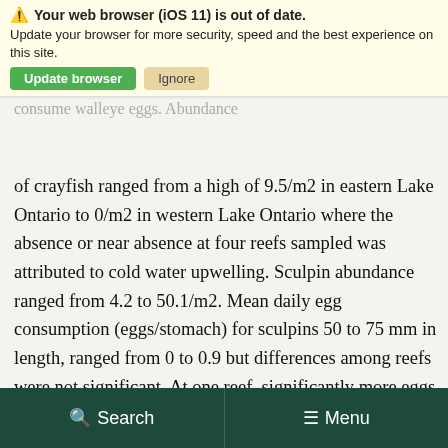Your web browser (iOS 11) is out of date. Update your browser for more security, speed and the best experience on this site. [Update browser] [Ignore]
reefs in Lake Ontario to assess abundance and potential to consume walleye eggs. Abundance of crayfish ranged from a high of 9.5/m2 in eastern Lake Ontario to 0/m2 in western Lake Ontario where the absence or near absence at four reefs sampled was attributed to cold water upwelling. Sculpin abundance ranged from 4.2 to 50.1/m2. Mean daily egg consumption (eggs/stomach) for sculpins 50 to 75 mm in length, ranged from 0 to 0.9 but differences among reefs were not significant. At one reef, significantly more eggs (2.5 eggs/stomach) were consumed by large sculpins (> 75 mm) than by small (44–49mm) sculpins (0.2 eggs/stomach). Estimated egg consumption (eggs/stomach/m2) for sculpins > 43 mm for the
Search   Menu